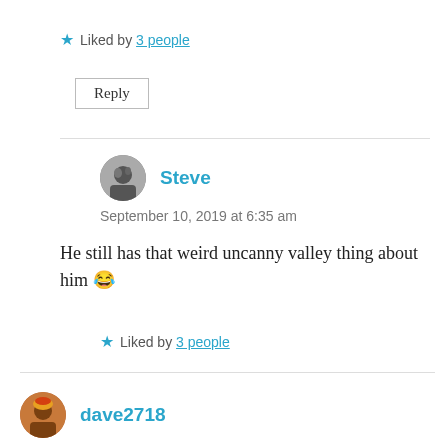★ Liked by 3 people
Reply
Steve
September 10, 2019 at 6:35 am
He still has that weird uncanny valley thing about him 😂
★ Liked by 3 people
dave2718